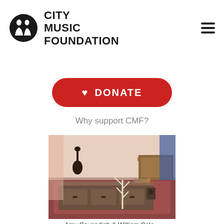[Figure (logo): City Music Foundation logo: circular icon with two facing profile silhouettes in black, alongside bold uppercase text 'CITY MUSIC FOUNDATION']
[Figure (other): Hamburger menu icon (three horizontal black lines) in top right corner]
[Figure (other): Red rounded rectangle donate button with white heart icon and white uppercase text 'DONATE']
Why support CMF?
[Figure (photo): Interior room photograph showing a low wooden storage unit with drawers, a decorative white tree sculpture, musical instruments and furnishings in background including a patterned rug and wooden table]
Amy Cavendish & William Cole...